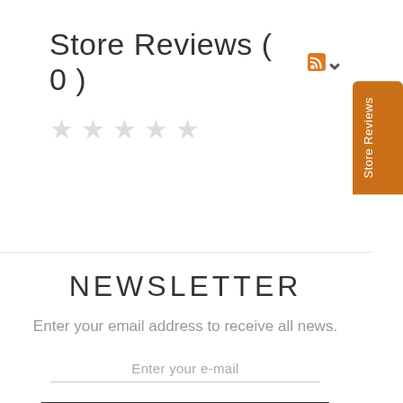Store Reviews ( 0 )
[Figure (other): Five empty/outline star rating icons]
NEWSLETTER
Enter your email address to receive all news.
Enter your e-mail
SUBSCRIBE